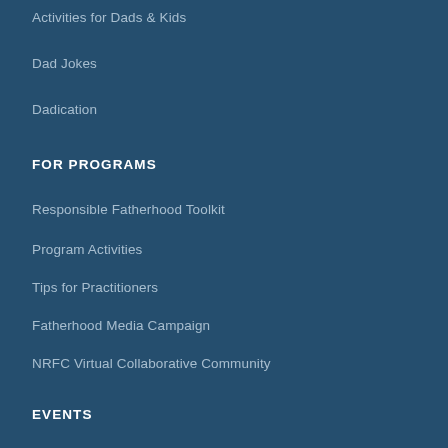Activities for Dads & Kids
Dad Jokes
Dadication
FOR PROGRAMS
Responsible Fatherhood Toolkit
Program Activities
Tips for Practitioners
Fatherhood Media Campaign
NRFC Virtual Collaborative Community
EVENTS
2022 Virtual Event
2019 Fatherhood Summit
PROGRAM MAP